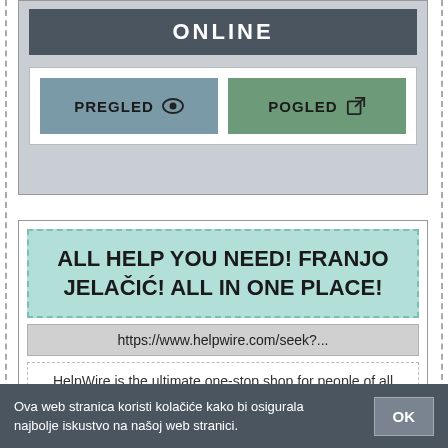ONLINE
PREGLED
POGLED
ALL HELP YOU NEED! FRANJO JELAČIĆ! ALL IN ONE PLACE!
https://www.helpwire.com/seek?...
HelpWire is the ultimate one-stop shop for people of all expertise levels looking for help on all kind of topics -- tech, shopping and more.
Ova web stranica koristi kolačiće kako bi osigurala najbolje iskustvo na našoj web stranici.